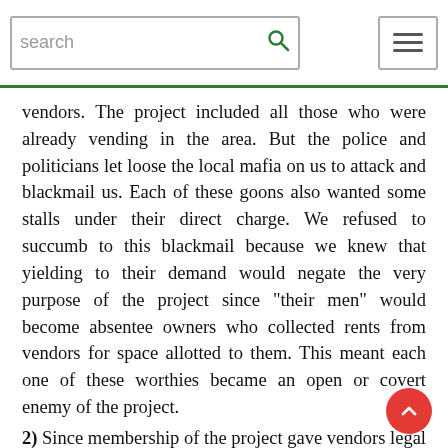search [search icon] [menu icon]
vendors. The project included all those who were already vending in the area. But the police and politicians let loose the local mafia on us to attack and blackmail us. Each of these goons also wanted some stalls under their direct charge. We refused to succumb to this blackmail because we knew that yielding to their demand would negate the very purpose of the project since "their men" would become absentee owners who collected rents from vendors for space allotted to them. This meant each one of these worthies became an open or covert enemy of the project.
2) Since membership of the project gave vendors legal protection and they began to pay a monthly tehbazari fee to the MCD, pilot project members stopped paying the weekly hafta (bribe). Sewa Nagar thus became the f... Ballo Free Zone in India for vendors. The hero of t...